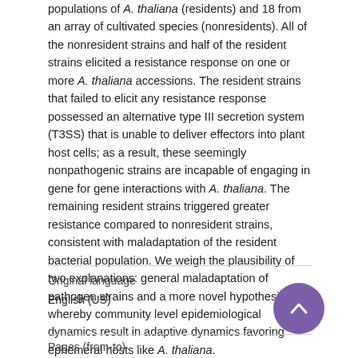populations of A. thaliana (residents) and 18 from an array of cultivated species (nonresidents). All of the nonresident strains and half of the resident strains elicited a resistance response on one or more A. thaliana accessions. The resident strains that failed to elicit any resistance response possessed an alternative type III secretion system (T3SS) that is unable to deliver effectors into plant host cells; as a result, these seemingly nonpathogenic strains are incapable of engaging in gene for gene interactions with A. thaliana. The remaining resident strains triggered greater resistance compared to nonresident strains, consistent with maladaptation of the resident bacterial population. We weigh the plausibility of two explanations: general maladaptation of pathogen strains and a more novel hypothesis whereby community level epidemiological dynamics result in adaptive dynamics favoring ephemeral hosts like A. thaliana.
| Original language |  |
| --- | --- |
| English (US) |  |
| Pages (from-to) |  |